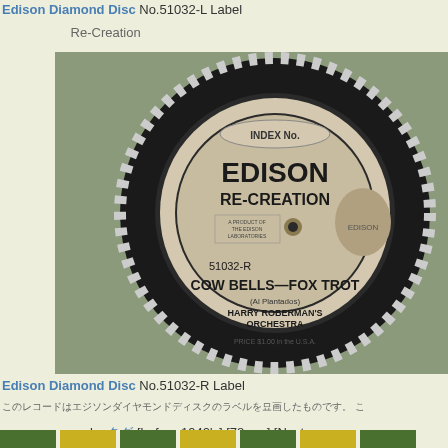Edison Diamond Disc No.51032-L Label
Re-Creation
[Figure (photo): Edison Re-Creation phonograph record label for Disc No.51032-R, showing 'COW BELLS—FOX TROT' by Harry Roberman's Orchestra, index number 8560, on a black circular disc label with checkered border and Edison's portrait.]
Edison Diamond Disc No.51032-R Label
Japanese text body describing the record
by [tags] [before 1940's] [78rpm] [Nostalgia]